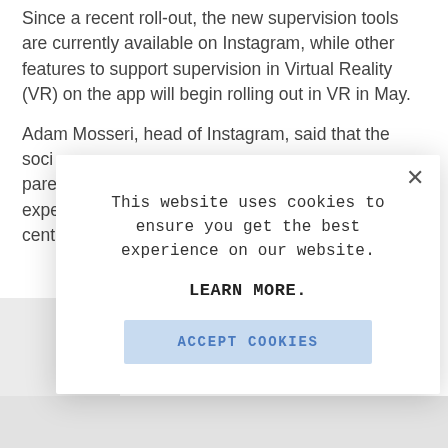Since a recent roll-out, the new supervision tools are currently available on Instagram, while other features to support supervision in Virtual Reality (VR) on the app will begin rolling out in VR in May.
Adam Mosseri, head of Instagram, said that the social media platform cent
[Figure (screenshot): Cookie consent modal dialog with close button (×), text 'This website uses cookies to ensure you get the best experience on our website.', a bold 'LEARN MORE.' link, and an 'ACCEPT COOKIES' button with light blue background.]